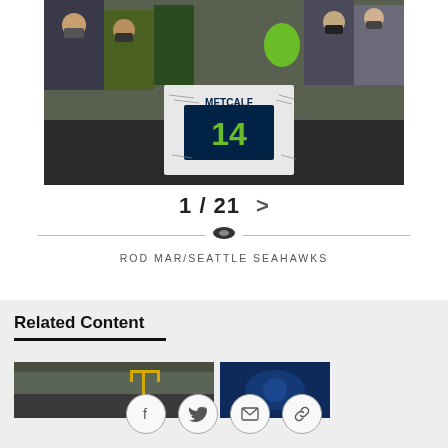[Figure (photo): Seattle Seahawks fans wearing masks and holding a signed Metcalf #14 jersey at a stadium railing]
1 / 21 >
ROD MAR/SEATTLE SEAHAWKS
Related Content
[Figure (photo): Stadium interior wide view with yellow field goal post visible]
[Figure (photo): Blue-toned sports photo]